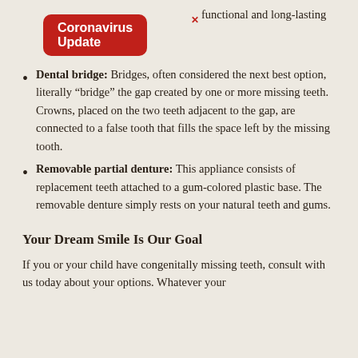functional and long-lasting
[Figure (other): Coronavirus Update banner/popup overlay in red with white bold text and an X close button]
Dental bridge: Bridges, often considered the next best option, literally “bridge” the gap created by one or more missing teeth. Crowns, placed on the two teeth adjacent to the gap, are connected to a false tooth that fills the space left by the missing tooth.
Removable partial denture: This appliance consists of replacement teeth attached to a gum-colored plastic base. The removable denture simply rests on your natural teeth and gums.
Your Dream Smile Is Our Goal
If you or your child have congenitally missing teeth, consult with us today about your options. Whatever your